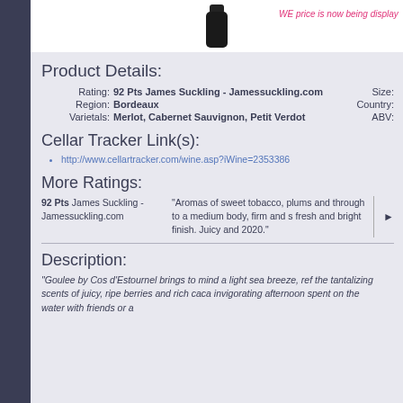[Figure (photo): Dark wine bottle partially visible at top center of page]
WE price is now being display...
Product Details:
Rating: 92 Pts James Suckling - Jamessuckling.com   Size:
Region: Bordeaux   Country:
Varietals: Merlot, Cabernet Sauvignon, Petit Verdot   ABV:
Cellar Tracker Link(s):
http://www.cellartracker.com/wine.asp?iWine=2353386
More Ratings:
92 Pts James Suckling - Jamessuckling.com
"Aromas of sweet tobacco, plums and... through to a medium body, firm and s... fresh and bright finish. Juicy and 2020."
Description:
"Goulee by Cos d'Estournel brings to mind a light sea breeze, ref... the tantalizing scents of juicy, ripe berries and rich caca... invigorating afternoon spent on the water with friends or a...